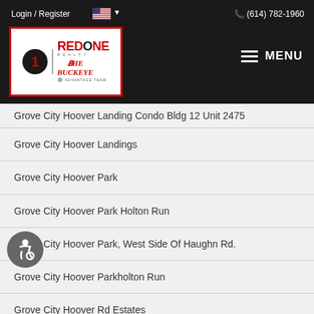Login / Register  (614) 782-1960
[Figure (logo): RedOne Realty - The Buckeye Advantage Team logo]
Grove City Hoover Landing Condo Bldg 12 Unit 2475
Grove City Hoover Landings
Grove City Hoover Park
Grove City Hoover Park Holton Run
Grove City Hoover Park, West Side Of Haughn Rd.
Grove City Hoover Parkholton Run
Grove City Hoover Rd Estates
Grove City Horse Farm With Arena
Grove City Indian Trail